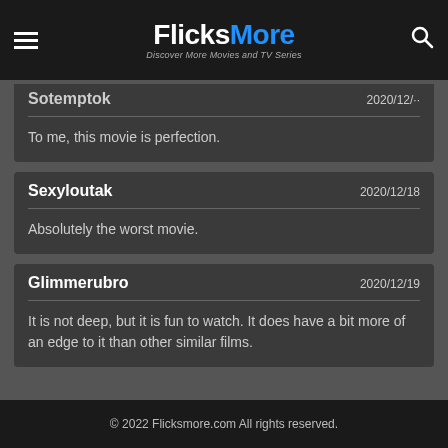FlicksMore — Discover More Movies and TV Series
Sotemptok — To me, this movie is perfection.
Sexyloutak 2020/12/18 — Absolutely the worst movie.
Glimmerubro 2020/12/19 — It is not deep, but it is fun to watch. It does have a bit more of an edge to it than other similar films.
© 2022 Flicksmore.com All rights reserved.